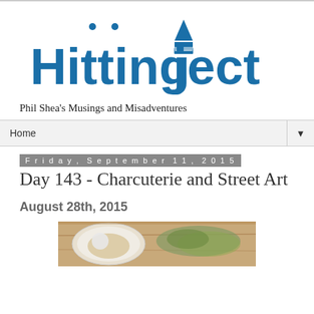[Figure (logo): Hitting Eject blog logo — bold blue text 'Hitting Eject' with a rocket/eject icon above the E]
Phil Shea's Musings and Misadventures
Home ▼
Friday, September 11, 2015
Day 143 - Charcuterie and Street Art
August 28th, 2015
[Figure (photo): Partial food photo showing a plate with what appears to be charcuterie items and salad on a wooden board]